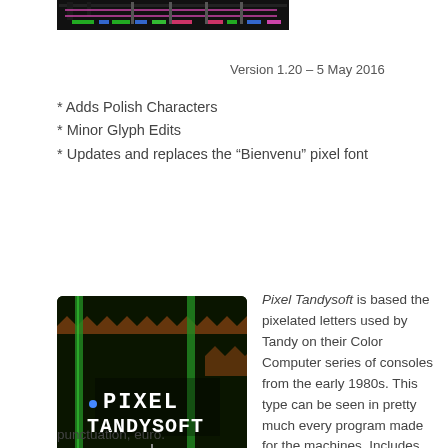[Figure (screenshot): Pixel art / retro game header image with colorful bars on dark background]
Version 1.20 – 5 May 2016
* Adds Polish Characters
* Minor Glyph Edits
* Updates and replaces the “Bienvenu” pixel font
[Figure (screenshot): Pixel Tandysoft retro game screenshot on dark green background with PIXEL TANDYSOFT text in white pixel font]
Pixel Tandysoft is based the pixelated letters used by Tandy on their Color Computer series of consoles from the early 1980s. This type can be seen in pretty much every program made for the machines. Includes full alphabet, extended punctuation, euro.